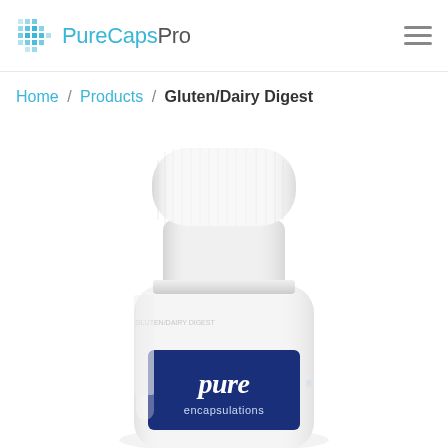PureCapsPro
Home / Products / Gluten/Dairy Digest
[Figure (photo): White supplement bottle from Pure Encapsulations brand (Gluten/Dairy Digest product), showing the top portion of the bottle with white cap and blue label with 'pure encapsulations' text in white italic font on a navy background.]